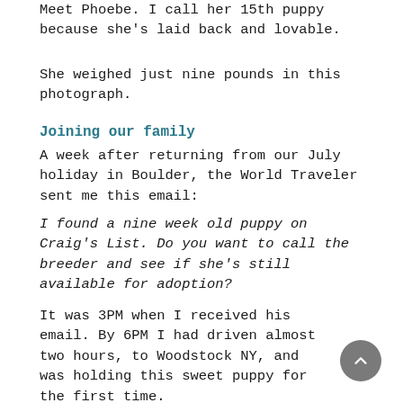Meet Phoebe. I call her 15th puppy because she's laid back and lovable.
She weighed just nine pounds in this photograph.
Joining our family
A week after returning from our July holiday in Boulder, the World Traveler sent me this email:
I found a nine week old puppy on Craig's List. Do you want to call the breeder and see if she's still available for adoption?
It was 3PM when I received his email. By 6PM I had driven almost two hours, to Woodstock NY, and was holding this sweet puppy for the first time.